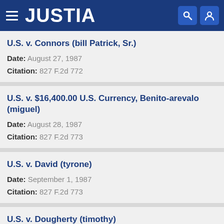JUSTIA
U.S. v. Connors (bill Patrick, Sr.)
Date: August 27, 1987
Citation: 827 F.2d 772
U.S. v. $16,400.00 U.S. Currency, Benito-arevalo (miguel)
Date: August 28, 1987
Citation: 827 F.2d 773
U.S. v. David (tyrone)
Date: September 1, 1987
Citation: 827 F.2d 773
U.S. v. Dougherty (timothy)
Date: August 27, 1987